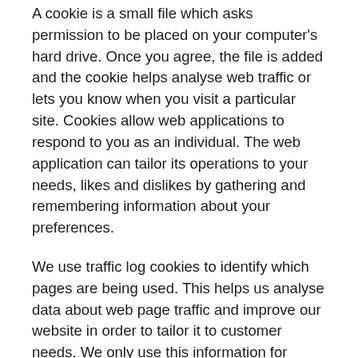A cookie is a small file which asks permission to be placed on your computer's hard drive. Once you agree, the file is added and the cookie helps analyse web traffic or lets you know when you visit a particular site. Cookies allow web applications to respond to you as an individual. The web application can tailor its operations to your needs, likes and dislikes by gathering and remembering information about your preferences.
We use traffic log cookies to identify which pages are being used. This helps us analyse data about web page traffic and improve our website in order to tailor it to customer needs. We only use this information for statistical analysis purposes and then the data is removed from the system.
Overall, cookies help us provide you with a better website, by enabling us to monitor which pages you find useful and which you do not. A cookie in no way gives us access to your computer or any information about you,